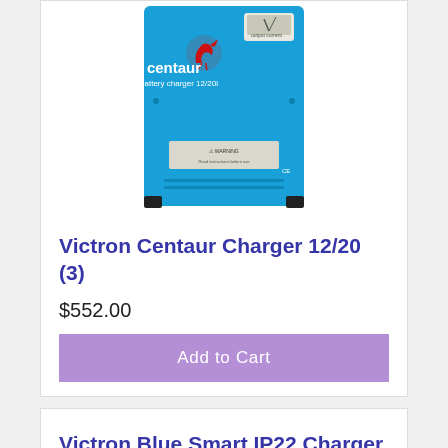[Figure (photo): Victron Centaur battery charger 12/20i device photo - blue rectangular charger with Centaur logo and analog meter on top]
Victron Centaur Charger 12/20 (3)
$552.00
Add to Cart
Victron Blue Smart IP22 Charger 12/30 (3)
$332.00